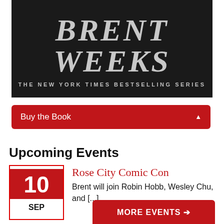[Figure (illustration): Dark banner image showing author name 'BRENT WEEKS' in large serif italic letters with subtitle 'THE NEW YORK TIMES BESTSELLING SERIES']
Buy the Book
Upcoming Events
10 SEP — Rose City Comic Con — Brent will join Robin Hobb, Wesley Chu, and [...]
MORE EVENTS →